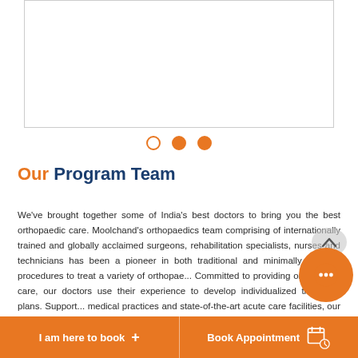[Figure (photo): White rectangle placeholder image area with gray border, representing a photo carousel]
[Figure (other): Carousel navigation dots: one empty circle and two filled orange circles]
Our Program Team
We've brought together some of India's best doctors to bring you the best orthopaedic care. Moolchand's orthopaedics team comprising of internationally trained and globally acclaimed surgeons, rehabilitation specialists, nurses and technicians has been a pioneer in both traditional and minimally invasive procedures to treat a variety of orthopae... Committed to providing one-on-one care, our doctors use their experience to develop individualized treatment plans. Support... medical practices and state-of-the-art acute care facilities, our te... creates a warm, safe, supportive and comforting environment for the
I am here to book + | Book Appointment